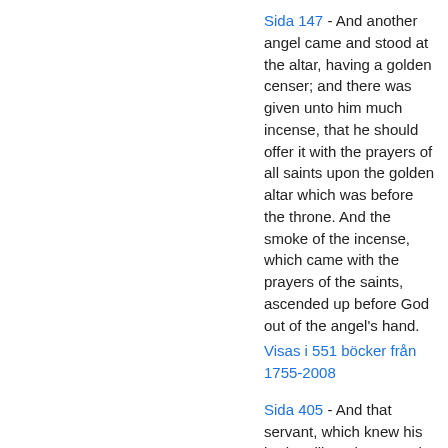Sida 147 - And another angel came and stood at the altar, having a golden censer; and there was given unto him much incense, that he should offer it with the prayers of all saints upon the golden altar which was before the throne. And the smoke of the incense, which came with the prayers of the saints, ascended up before God out of the angel's hand.
Visas i 551 böcker från 1755-2008
Sida 405 - And that servant, which knew his lord's will, and prepared